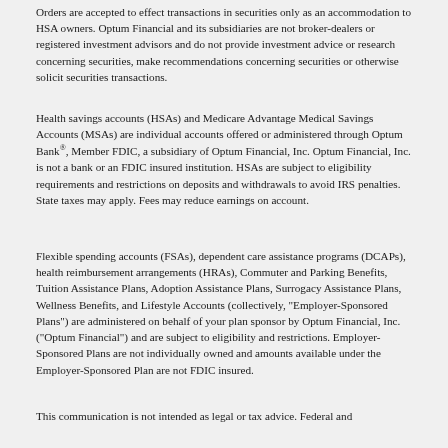Orders are accepted to effect transactions in securities only as an accommodation to HSA owners. Optum Financial and its subsidiaries are not broker-dealers or registered investment advisors and do not provide investment advice or research concerning securities, make recommendations concerning securities or otherwise solicit securities transactions.
Health savings accounts (HSAs) and Medicare Advantage Medical Savings Accounts (MSAs) are individual accounts offered or administered through Optum Bank®, Member FDIC, a subsidiary of Optum Financial, Inc. Optum Financial, Inc. is not a bank or an FDIC insured institution. HSAs are subject to eligibility requirements and restrictions on deposits and withdrawals to avoid IRS penalties. State taxes may apply. Fees may reduce earnings on account.
Flexible spending accounts (FSAs), dependent care assistance programs (DCAPs), health reimbursement arrangements (HRAs), Commuter and Parking Benefits, Tuition Assistance Plans, Adoption Assistance Plans, Surrogacy Assistance Plans, Wellness Benefits, and Lifestyle Accounts (collectively, "Employer-Sponsored Plans") are administered on behalf of your plan sponsor by Optum Financial, Inc. ("Optum Financial") and are subject to eligibility and restrictions. Employer-Sponsored Plans are not individually owned and amounts available under the Employer-Sponsored Plan are not FDIC insured.
This communication is not intended as legal or tax advice. Federal and...